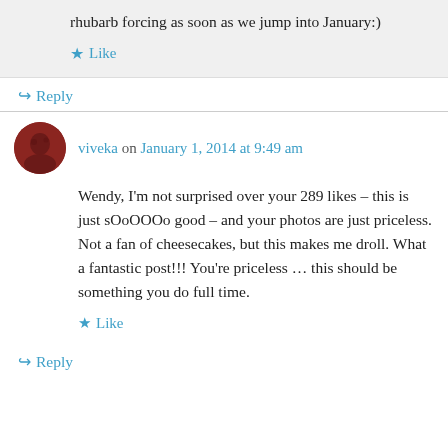rhubarb forcing as soon as we jump into January:)
Like
Reply
viveka on January 1, 2014 at 9:49 am
Wendy, I'm not surprised over your 289 likes – this is just sOoOOOo good – and your photos are just priceless. Not a fan of cheesecakes, but this makes me droll. What a fantastic post!!! You're priceless … this should be something you do full time.
Like
Reply